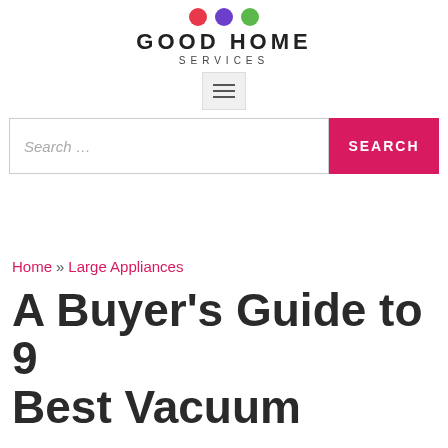GOOD HOME SERVICES
Search ...
Home » Large Appliances
A Buyer's Guide to 9 Best Vacuum